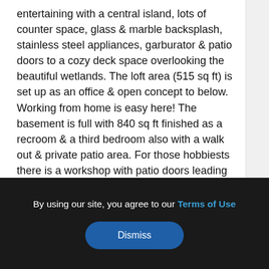entertaining with a central island, lots of counter space, glass & marble backsplash, stainless steel appliances, garburator & patio doors to a cozy deck space overlooking the beautiful wetlands. The loft area (515 sq ft) is set up as an office & open concept to below. Working from home is easy here! The basement is full with 840 sq ft finished as a recroom & a third bedroom also with a walk out & private patio area. For those hobbiests there is a workshop with patio doors leading outside & a dust filter system in place. The basement also features a 2 pc bathroom & nice sized laundry room. Other features include a 2 car attached garage, brand new furnace & central air, HRV, reverse osmosis system & water softener. Also included are the fridge, stove, convection microwave, washer, dryer, dust filter, all window coverings & nice patio umbrella. Total
By using our site, you agree to our Terms of Use
Dismiss